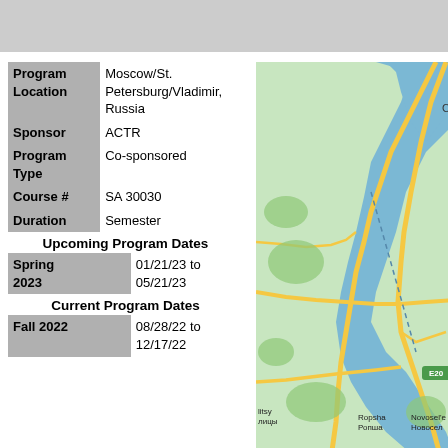| Program Location | Moscow/St. Petersburg/Vladimir, Russia |
| Sponsor | ACTR |
| Program Type | Co-sponsored |
| Course # | SA 30030 |
| Duration | Semester |
Upcoming Program Dates
| Spring 2023 | 01/21/23 to 05/21/23 |
Current Program Dates
| Fall 2022 | 08/28/22 to 12/17/22 |
[Figure (map): Map showing the St. Petersburg/Leningrad Oblast region of Russia, with water bodies, roads, and localities including Novosel'e/Новосел, litsy/лицы, Ropsha/Ропша, and route E20 marked.]